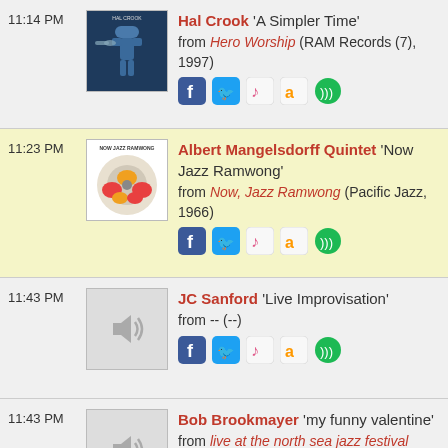11:14 PM — Hal Crook 'A Simpler Time' from Hero Worship (RAM Records (7), 1997)
11:23 PM — Albert Mangelsdorff Quintet 'Now Jazz Ramwong' from Now, Jazz Ramwong (Pacific Jazz, 1966)
11:43 PM — JC Sanford 'Live Improvisation' from -- (--)
11:43 PM — Bob Brookmayer 'my funny valentine' from live at the north sea jazz festival (callenge)